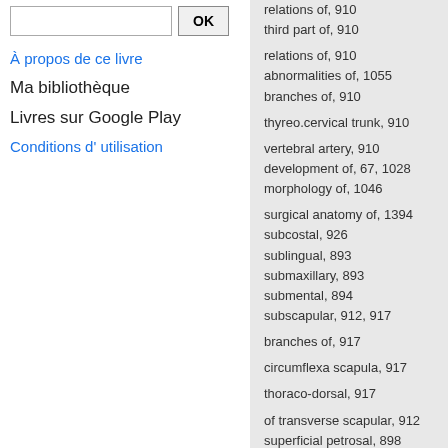OK (search button)
À propos de ce livre
Ma bibliothèque
Livres sur Google Play
Conditions d' utilisation
relations of, 910
third part of, 910
relations of, 910
abnormalities of, 1055
branches of, 910
thyreo.cervical trunk, 910
vertebral artery, 910
development of, 67, 1028
morphology of, 1046
surgical anatomy of, 1394
subcostal, 926
sublingual, 893
submaxillary, 893
submental, 894
subscapular, 912, 917
branches of, 917
circumflexa scapula, 917
thoraco-dorsal, 917
of transverse scapular, 912
superficial petrosal, 898
volar, 924